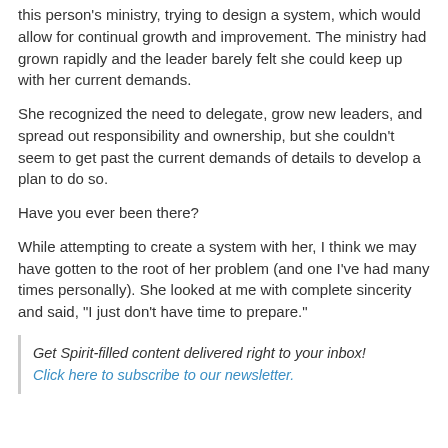this person's ministry, trying to design a system, which would allow for continual growth and improvement. The ministry had grown rapidly and the leader barely felt she could keep up with her current demands.
She recognized the need to delegate, grow new leaders, and spread out responsibility and ownership, but she couldn't seem to get past the current demands of details to develop a plan to do so.
Have you ever been there?
While attempting to create a system with her, I think we may have gotten to the root of her problem (and one I've had many times personally). She looked at me with complete sincerity and said, "I just don't have time to prepare."
Get Spirit-filled content delivered right to your inbox! Click here to subscribe to our newsletter.